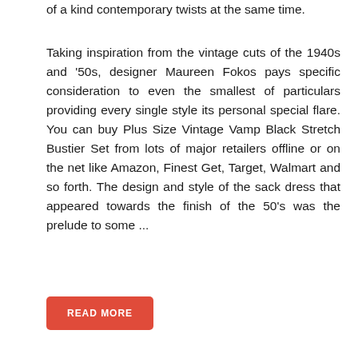of a kind contemporary twists at the same time.
Taking inspiration from the vintage cuts of the 1940s and '50s, designer Maureen Fokos pays specific consideration to even the smallest of particulars providing every single style its personal special flare. You can buy Plus Size Vintage Vamp Black Stretch Bustier Set from lots of major retailers offline or on the net like Amazon, Finest Get, Target, Walmart and so forth. The design and style of the sack dress that appeared towards the finish of the 50's was the prelude to some ...
READ MORE